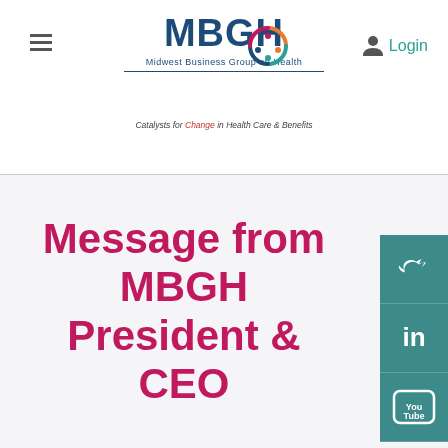MBGH — Midwest Business Group on Health | Catalysts for Change in Health Care & Benefits
Message from MBGH President & CEO